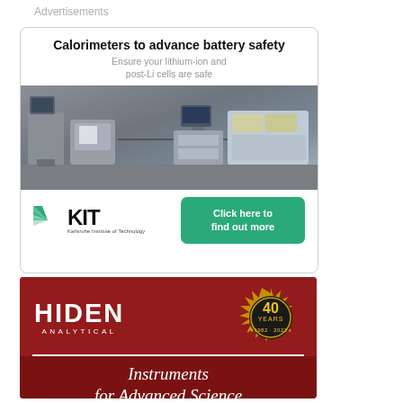Advertisements
[Figure (photo): KIT advertisement for calorimeters to advance battery safety. Shows laboratory equipment photo, KIT logo (Karlsruhe Institute of Technology), and a green 'Click here to find out more' button.]
[Figure (photo): Hiden Analytical advertisement showing 40 Years 1982-2022 badge, HIDEN ANALYTICAL logo, and text 'Instruments for Advanced Science' on dark red background.]